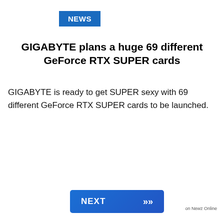NEWS
GIGABYTE plans a huge 69 different GeForce RTX SUPER cards
GIGABYTE is ready to get SUPER sexy with 69 different GeForce RTX SUPER cards to be launched.
NEXT >> on Newz Online